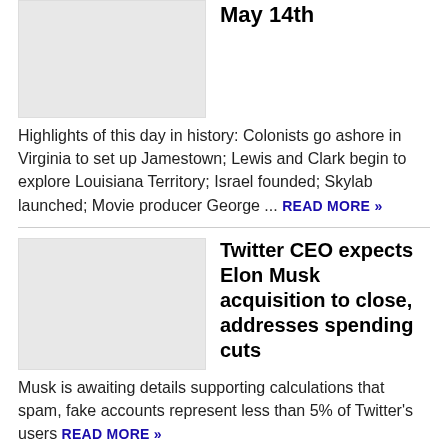[Figure (photo): Thumbnail image placeholder for first article]
May 14th
Highlights of this day in history: Colonists go ashore in Virginia to set up Jamestown; Lewis and Clark begin to explore Louisiana Territory; Israel founded; Skylab launched; Movie producer George ... READ MORE »
[Figure (photo): Thumbnail image placeholder for second article]
Twitter CEO expects Elon Musk acquisition to close, addresses spending cuts
Musk is awaiting details supporting calculations that spam, fake accounts represent less than 5% of Twitter's users READ MORE »